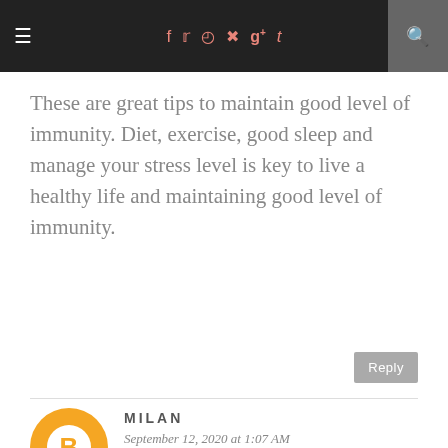≡  f  t  [instagram] [pinterest] g+  t  [search]
These are great tips to maintain good level of immunity. Diet, exercise, good sleep and manage your stress level is key to live a healthy life and maintaining good level of immunity.
Reply
MILAN
September 12, 2020 at 1:07 AM
Its really important to keep stress level in check during this